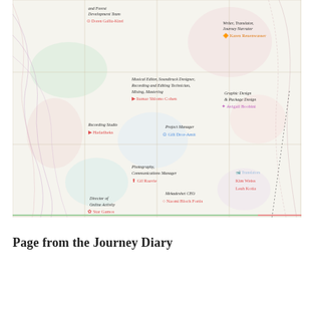[Figure (infographic): A stylized map/infographic page from a Journey Diary showing various team member roles and names arranged over a grid-lined map background with topographic contour lines and soft color patches. Roles and names include: Development Team - Doren Gallia-Kind; Writer, Translator, Journey Narrator - Karen Reuenwasser; Musical Editor, Soundtrack Designer, Recording and Editing Technician, Mixing, Mastering - Itamar Shlomo Cohen; Graphic Design & Package Design - Avigail Boobini; Recording Studio - Hadadheks; Project Manager - Gili Dror-Amit; Photography, Communications Manager - Gil Raavie; Translators - Kim Weiss, Leah Kotia; Director of Online Activity - Star Gamos; Mekadeshet CEO - Naomi Bloch Fortis]
Page from the Journey Diary